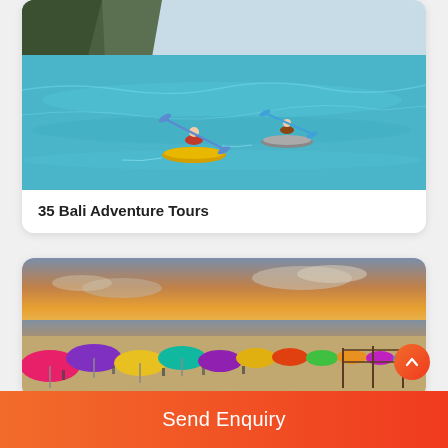[Figure (photo): Two kayakers paddling on vivid blue-turquoise sea with steep green cliffs in background — sea kayaking adventure tour in Bali]
35 Bali Adventure Tours
[Figure (photo): Colorful beach umbrellas (pink, purple, yellow, teal) crowded on a sandy beach at sunset with golden-orange sky — Bali beach scene]
Send Enquiry